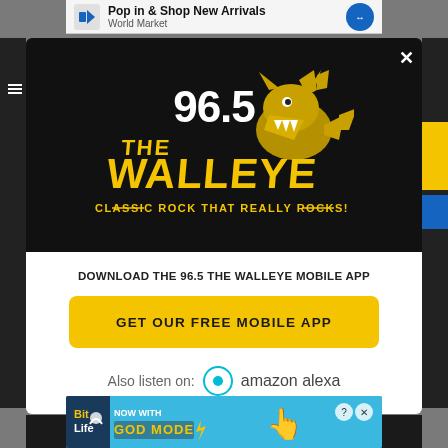[Figure (screenshot): Top advertisement banner showing 'Pop in & Shop New Arrivals - World Market' with navigation arrow icon]
[Figure (logo): 96.5 The Walleye radio station logo - yellow text with wolf/fish mascot graphic and tagline 'Classic Rock That Really Rocks!']
DOWNLOAD THE 96.5 THE WALLEYE MOBILE APP
GET OUR FREE MOBILE APP
Also listen on:  amazon alexa
[Figure (screenshot): BitLife advertisement banner - 'Now With GOD MODE' on cyan/blue background with hand pointing graphic]